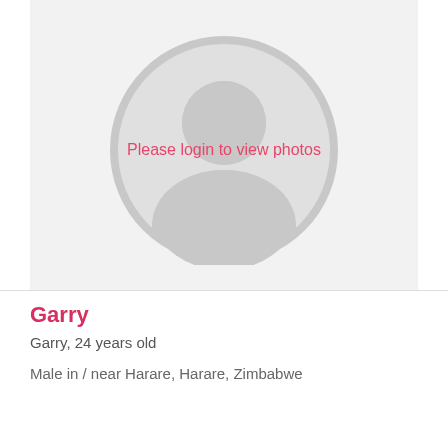[Figure (illustration): Default profile silhouette avatar placeholder with circular frame on light grey background, with text overlay 'Please login to view photos' in pink/red color]
Garry
Garry, 24 years old
Male in / near Harare, Harare, Zimbabwe